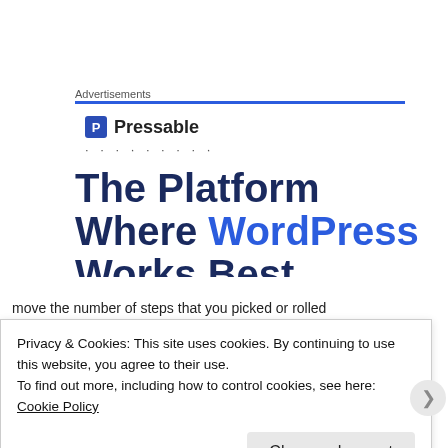Advertisements
[Figure (advertisement): Pressable WordPress hosting advertisement showing logo with blue P icon, dots, and large bold headline 'The Platform Where WordPress Works Best' (partially clipped)]
move the number of steps that you picked or rolled
Privacy & Cookies: This site uses cookies. By continuing to use this website, you agree to their use.
To find out more, including how to control cookies, see here: Cookie Policy
Close and accept